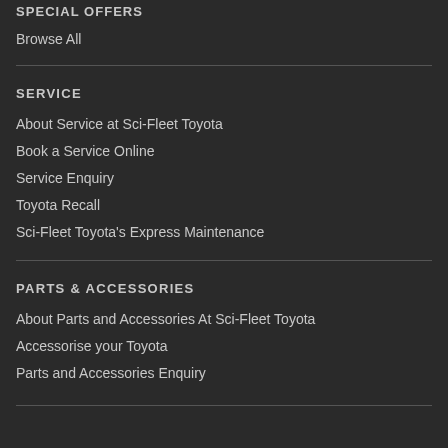SPECIAL OFFERS
Browse All
SERVICE
About Service at Sci-Fleet Toyota
Book a Service Online
Service Enquiry
Toyota Recall
Sci-Fleet Toyota's Express Maintenance
PARTS & ACCESSORIES
About Parts and Accessories At Sci-Fleet Toyota
Accessorise your Toyota
Parts and Accessories Enquiry